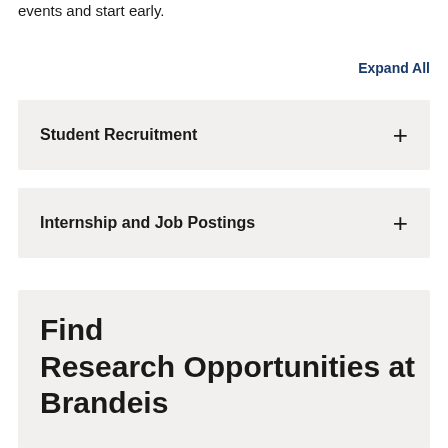events and start early.
Expand All
Student Recruitment
Internship and Job Postings
Find Research Opportunities at Brandeis